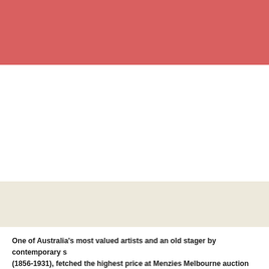[Figure (other): Solid salmon/coral red horizontal band at top of page]
[Figure (other): White horizontal band in the middle of the page]
[Figure (other): Cream/beige horizontal band below the white band]
One of Australia's most valued artists and an old stager by contemporary s... (1856-1931), fetched the highest price at Menzies Melbourne auction on We... his work titled Portrait of C.S. Paterson 1888 (lot 34) – a credible $233,181.8... premium.